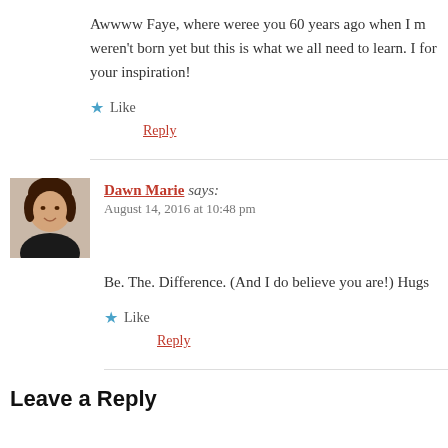Awwww Faye, where weree you 60 years ago when I m weren't born yet but this is what we all need to learn. I for your inspiration!
★ Like
Reply
Dawn Marie says: August 14, 2016 at 10:48 pm
Be. The. Difference. (And I do believe you are!) Hugs
★ Like
Reply
Leave a Reply